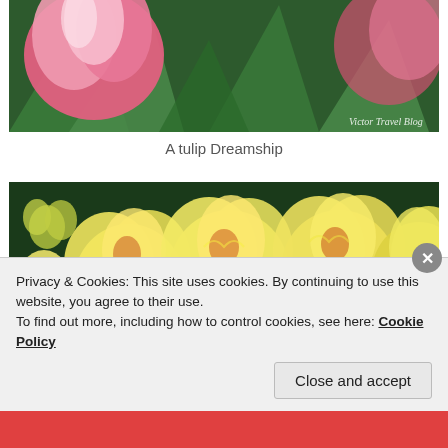[Figure (photo): Close-up photo of pink tulip flowers (Dreamship variety) with green leaves against dark background, watermarked 'Victor Travel Blog']
A tulip Dreamship
[Figure (photo): Close-up photo of yellow double peony tulip flowers with orange-red accents, densely packed blooms filling the frame]
Privacy & Cookies: This site uses cookies. By continuing to use this website, you agree to their use.
To find out more, including how to control cookies, see here: Cookie Policy
Close and accept